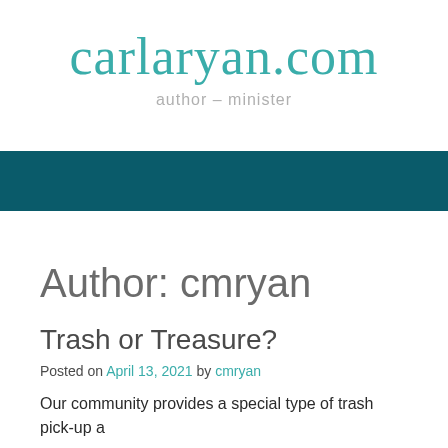carlaryan.com
author – minister
Author: cmryan
Trash or Treasure?
Posted on April 13, 2021 by cmryan
Our community provides a special type of trash pick-up a